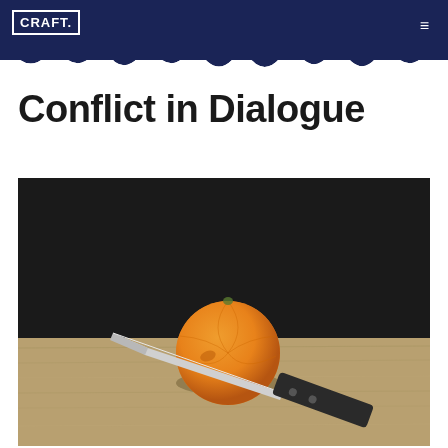CRAFT.
Conflict in Dialogue
[Figure (photo): A photograph of an orange with a knife stabbed through it, resting on a wooden cutting board against a dark background.]